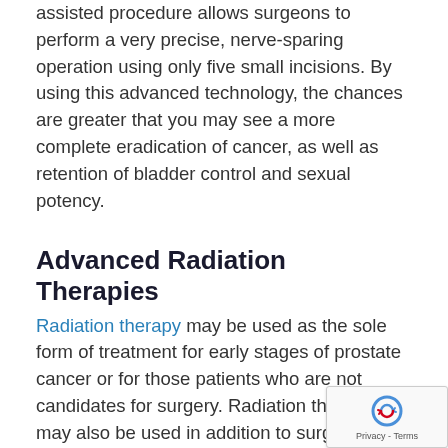assisted procedure allows surgeons to perform a very precise, nerve-sparing operation using only five small incisions. By using this advanced technology, the chances are greater that you may see a more complete eradication of cancer, as well as retention of bladder control and sexual potency.
Advanced Radiation Therapies
Radiation therapy may be used as the sole form of treatment for early stages of prostate cancer or for those patients who are not candidates for surgery. Radiation therapy may also be used in addition to surgery in more advanced stages
Memorial Hermann offers advanced radiation therapies for qualified patients which can